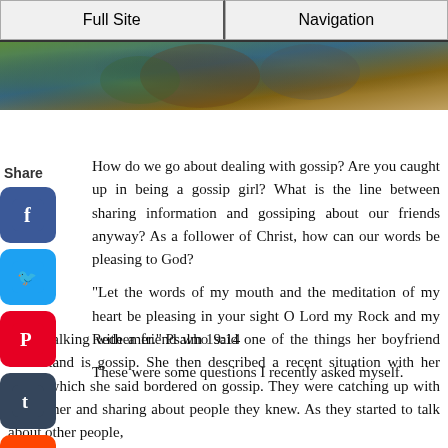Full Site | Navigation
[Figure (photo): Cropped photo of people outdoors]
How do we go about dealing with gossip? Are you caught up in being a gossip girl? What is the line between sharing information and gossiping about our friends anyway? As a follower of Christ, how can our words be pleasing to God?
"Let the words of my mouth and the meditation of my heart be pleasing in your sight O Lord my Rock and my Redeemer." Psalm 19:14
These were some questions I recently asked myself.
I was talking with a friend who said one of the things her boyfriend can't stand is gossip. She then described a recent situation with her friend which she said bordered on gossip. They were catching up with each other and sharing about people they knew. As they started to talk about other people,